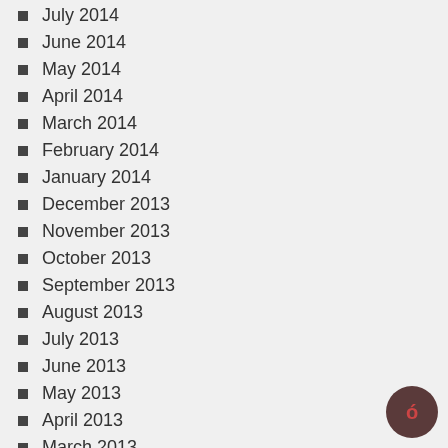July 2014
June 2014
May 2014
April 2014
March 2014
February 2014
January 2014
December 2013
November 2013
October 2013
September 2013
August 2013
July 2013
June 2013
May 2013
April 2013
March 2013
February 2013
January 2013
December 2012